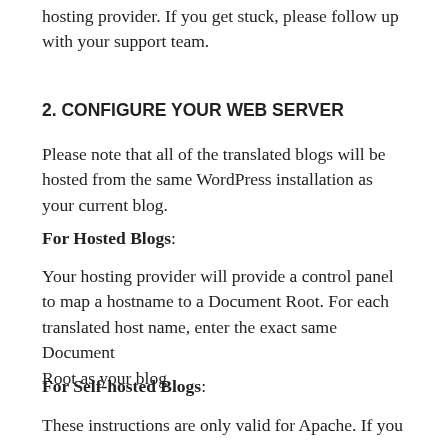hosting provider. If you get stuck, please follow up with your support team.
2. CONFIGURE YOUR WEB SERVER
Please note that all of the translated blogs will be hosted from the same WordPress installation as your current blog.
For Hosted Blogs:
Your hosting provider will provide a control panel to map a hostname to a Document Root. For each translated host name, enter the exact same Document
Root as your blog.
For Self-hosted Blogs:
These instructions are only valid for Apache. If you